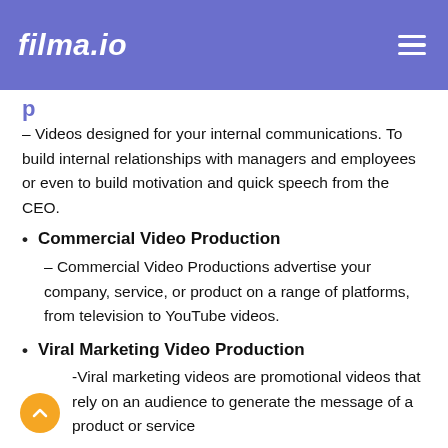filma.io
– Videos designed for your internal communications. To build internal relationships with managers and employees or even to build motivation and quick speech from the CEO.
Commercial Video Production – Commercial Video Productions advertise your company, service, or product on a range of platforms, from television to YouTube videos.
Viral Marketing Video Production -Viral marketing videos are promotional videos that rely on an audience to generate the message of a product or service